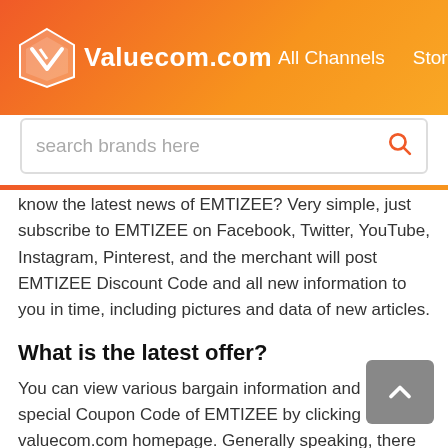Valuecom.com  All Channels  Stores
search brands here
know the latest news of EMTIZEE? Very simple, just subscribe to EMTIZEE on Facebook, Twitter, YouTube, Instagram, Pinterest, and the merchant will post EMTIZEE Discount Code and all new information to you in time, including pictures and data of new articles.
What is the latest offer?
You can view various bargain information and acquire special Coupon Code of EMTIZEE by clicking on the valuecom.com homepage. Generally speaking, there will be EMTIZEE Promo Code information like 30% Off With EMTIZEE Discount Code. Try to master the latest discount of